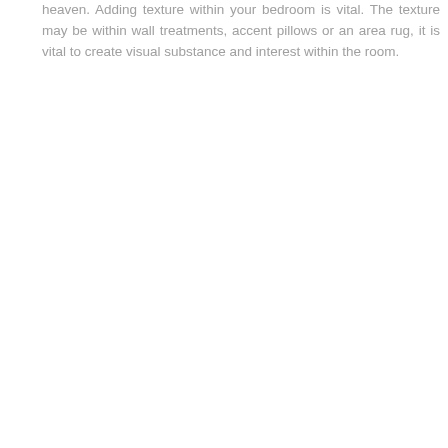heaven. Adding texture within your bedroom is vital. The texture may be within wall treatments, accent pillows or an area rug, it is vital to create visual substance and interest within the room.